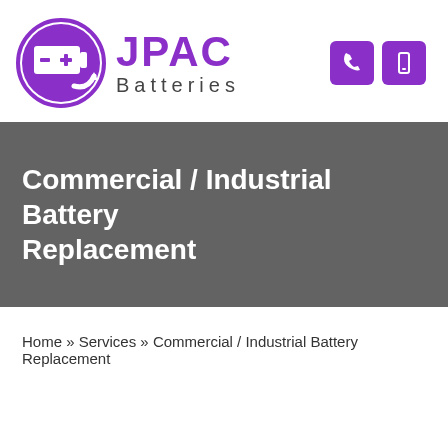[Figure (logo): JPAC Batteries logo: circular purple battery icon with arrow on left, JPAC in large purple bold text and Batteries in grey spaced text on right. Two purple icon buttons (phone and mobile) on far right.]
Commercial / Industrial Battery Replacement
Home » Services » Commercial / Industrial Battery Replacement